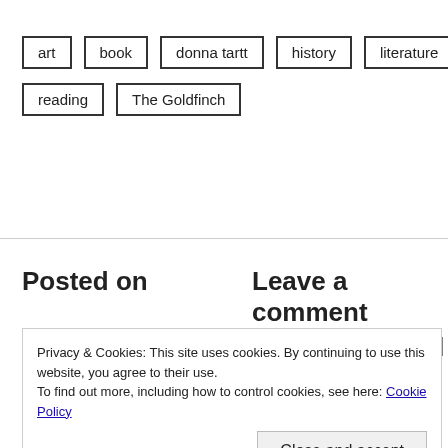art
book
donna tartt
history
literature
reading
The Goldfinch
Posted on
Leave a comment
December 27, 2015
Uncategorized
Privacy & Cookies: This site uses cookies. By continuing to use this website, you agree to their use.
To find out more, including how to control cookies, see here: Cookie Policy
Close and accept
Swedish signs